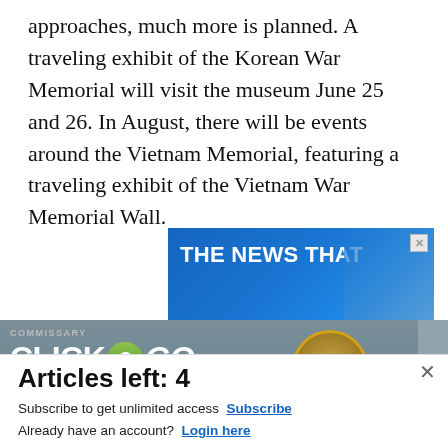approaches, much more is planned. A traveling exhibit of the Korean War Memorial will visit the museum June 25 and 26. In August, there will be events around the Vietnam Memorial, featuring a traveling exhibit of the Vietnam War Memorial Wall.
[Figure (screenshot): Advertisement banner: 'THE NEWS THAT' on blue background with phone/stock imagery]
[Figure (screenshot): Commissary Click2Go advertisement banner with logo and 'order groceries | PICK UP' text on grey/slate background]
Articles left: 4
Subscribe to get unlimited access Subscribe
Already have an account? Login here